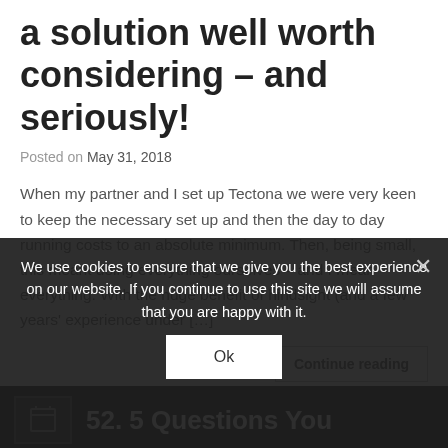a solution well worth considering – and seriously!
Posted on May 31, 2018
When my partner and I set up Tectona we were very keen to keep the necessary set up and then the day to day running costs to an absolute minimum. Then, being small, this meant doing everything ourselves – and I mean everything. With the huge benefit of hindsight (and a few years' experience under […]
Continue reading
We use cookies to ensure that we give you the best experience on our website. If you continue to use this site we will assume that you are happy with it.
Ok
52. 5 Questions You